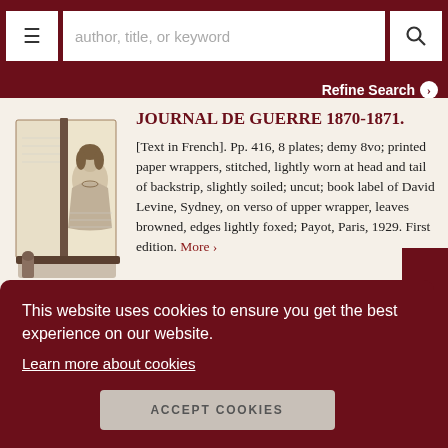author, title, or keyword | Refine Search
[Figure (photo): Open book with an illustration of a woman in 19th century dress, standing upright on a surface]
JOURNAL DE GUERRE 1870-1871.
[Text in French]. Pp. 416, 8 plates; demy 8vo; printed paper wrappers, stitched, lightly worn at head and tail of backstrip, slightly soiled; uncut; book label of David Levine, Sydney, on verso of upper wrapper, leaves browned, edges lightly foxed; Payot, Paris, 1929. First edition. More >
This website uses cookies to ensure you get the best experience on our website.
Learn more about cookies
ACCEPT COOKIES